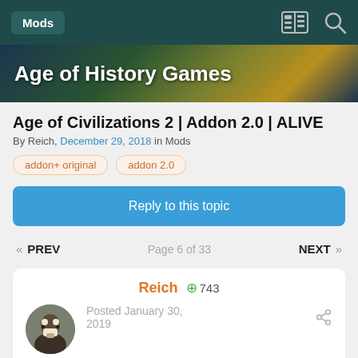Mods
Age of History Games
Age of Civilizations 2 | Addon 2.0 | ALIVE
By Reich, December 29, 2018 in Mods
addon+ original
addon 2.0
Reply to this topic
PREV   Page 6 of 33   NEXT
Reich  + 743
Posted January 30, 2019
Screenshot of the new interface, texture maps, as well as the new